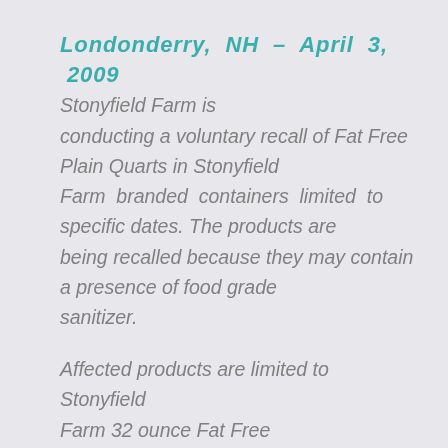Londonderry, NH – April 3, 2009 Stonyfield Farm is conducting a voluntary recall of Fat Free Plain Quarts in Stonyfield Farm branded containers limited to specific dates. The products are being recalled because they may contain a presence of food grade sanitizer.
Affected products are limited to Stonyfield Farm 32 ounce Fat Free Plain yogurt UPC # 52159 00006 carrying one of the following product